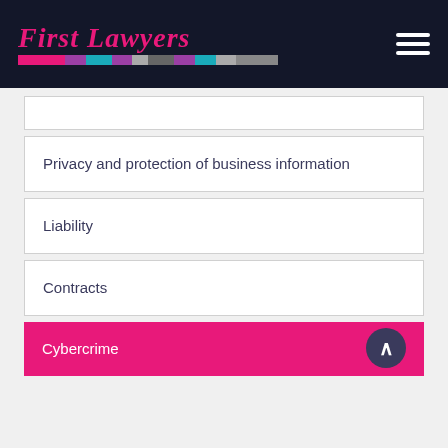First Lawyers
Privacy and protection of business information
Liability
Contracts
Cybercrime